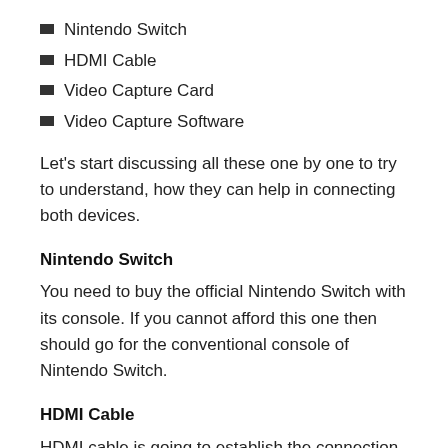Nintendo Switch
HDMI Cable
Video Capture Card
Video Capture Software
Let's start discussing all these one by one to try to understand, how they can help in connecting both devices.
Nintendo Switch
You need to buy the official Nintendo Switch with its console. If you cannot afford this one then should go for the conventional console of Nintendo Switch.
HDMI Cable
HDMI cable is going to establish the connection between both devices and originally...